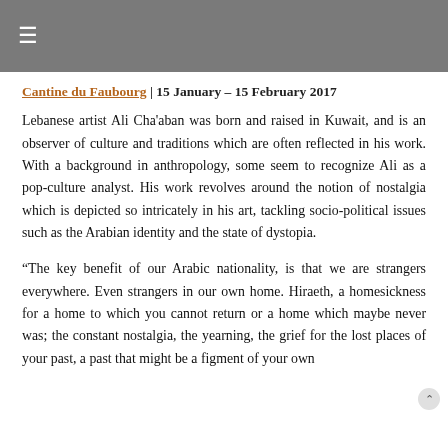≡
Cantine du Faubourg | 15 January – 15 February 2017
Lebanese artist Ali Cha'aban was born and raised in Kuwait, and is an observer of culture and traditions which are often reflected in his work. With a background in anthropology, some seem to recognize Ali as a pop-culture analyst. His work revolves around the notion of nostalgia which is depicted so intricately in his art, tackling socio-political issues such as the Arabian identity and the state of dystopia.
“The key benefit of our Arabic nationality, is that we are strangers everywhere. Even strangers in our own home. Hiraeth, a homesickness for a home to which you cannot return or a home which maybe never was; the constant nostalgia, the yearning, the grief for the lost places of your past, a past that might be a figment of your own